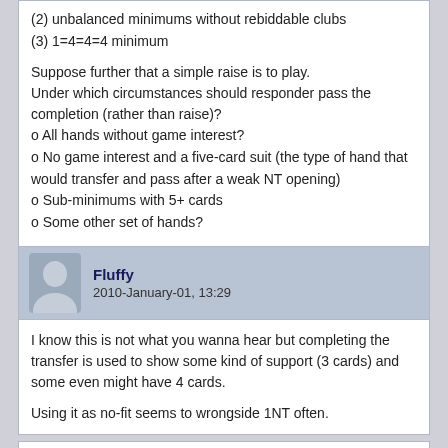(2) unbalanced minimums without rebiddable clubs
(3) 1=4=4=4 minimum
Suppose further that a simple raise is to play.
Under which circumstances should responder pass the completion (rather than raise)?
o All hands without game interest?
o No game interest and a five-card suit (the type of hand that would transfer and pass after a weak NT opening)
o Sub-minimums with 5+ cards
o Some other set of hands?
Fluffy
2010-January-01, 13:29
I know this is not what you wanna hear but completing the transfer is used to show some kind of support (3 cards) and some even might have 4 cards.

Using it as no-fit seems to wrongside 1NT often.